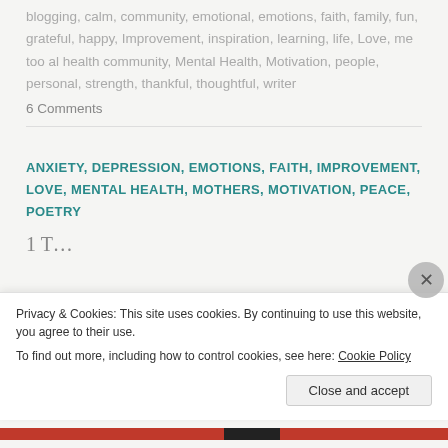blogging, calm, community, emotional, emotions, faith, family, fun, grateful, happy, Improvement, inspiration, learning, life, Love, me too al health community, Mental Health, Motivation, people, personal, strength, thankful, thoughtful, writer
6 Comments
ANXIETY, DEPRESSION, EMOTIONS, FAITH, IMPROVEMENT, LOVE, MENTAL HEALTH, MOTHERS, MOTIVATION, PEACE, POETRY
Privacy & Cookies: This site uses cookies. By continuing to use this website, you agree to their use.
To find out more, including how to control cookies, see here: Cookie Policy